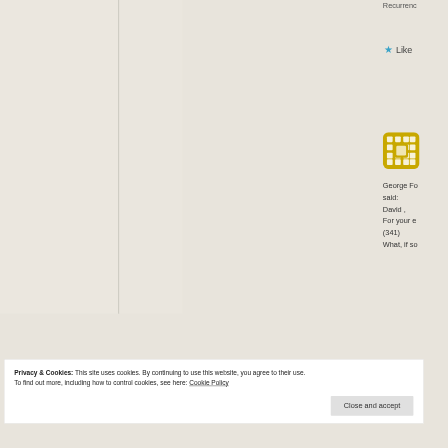Recurrence
[Figure (other): Star icon for Like button]
Like
[Figure (other): Yellow avatar icon with grid pattern for user George Fo]
George Fo said: David , For your e (341) What, if so
Privacy & Cookies: This site uses cookies. By continuing to use this website, you agree to their use.
To find out more, including how to control cookies, see here: Cookie Policy
Close and accept